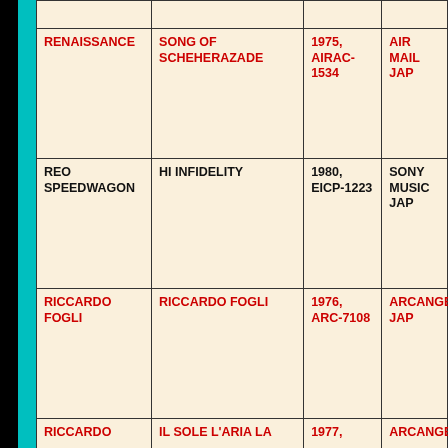| Artist | Album | Year/Catalog | Label |
| --- | --- | --- | --- |
|  |  |  |  |
| RENAISSANCE | SONG OF SCHEHERAZADE | 1975, AIRAC-1534 | AIR MAIL JAP |
| REO SPEEDWAGON | HI INFIDELITY | 1980, EICP-1223 | SONY MUSIC JAP |
| RICCARDO FOGLI | RICCARDO FOGLI | 1976, ARC-7108 | ARCANGELO JAP |
| RICCARDO | IL SOLE L'ARIA LA | 1977, | ARCANGELO |